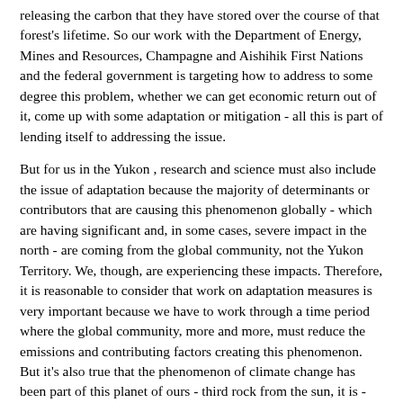releasing the carbon that they have stored over the course of that forest's lifetime. So our work with the Department of Energy, Mines and Resources, Champagne and Aishihik First Nations and the federal government is targeting how to address to some degree this problem, whether we can get economic return out of it, come up with some adaptation or mitigation - all this is part of lending itself to addressing the issue.
But for us in the Yukon , research and science must also include the issue of adaptation because the majority of determinants or contributors that are causing this phenomenon globally - which are having significant and, in some cases, severe impact in the north - are coming from the global community, not the Yukon Territory. We, though, are experiencing these impacts. Therefore, it is reasonable to consider that work on adaptation measures is very important because we have to work through a time period where the global community, more and more, must reduce the emissions and contributing factors creating this phenomenon. But it's also true that the phenomenon of climate change has been part of this planet of ours - third rock from the sun, it is - since its inception or beginnings.
I'm not a scientist; I am merely taking my lead from all available information and scientists have clearly articulated for quite some time now that climate change has happened before. The new